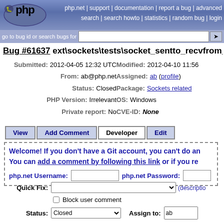[Figure (screenshot): PHP bugs website screenshot showing bug #61637 detail page with header, navigation, bug metadata, action buttons, welcome box, and form fields]
php.net | support | documentation | report a bug | advanced search | search howto | statistics | random bug | login
Bug #61637 ext\sockets\tests\socket_sentto_recvfrom_unix.p
Submitted: 2012-04-05 12:32 UTC   Modified: 2012-04-10 11:56
From: ab@php.net   Assigned: ab (profile)
Status: Closed   Package: Sockets related
PHP Version: Irrelevant   OS: Windows
Private report: No   CVE-ID: None
View | Add Comment | Developer | Edit
Welcome! If you don't have a Git account, you can't do an... You can add a comment by following this link or if you re...
php.net Username:   php.net Password:
Quick Fix: (description)
Block user comment
Status: Closed   Assign to: ab